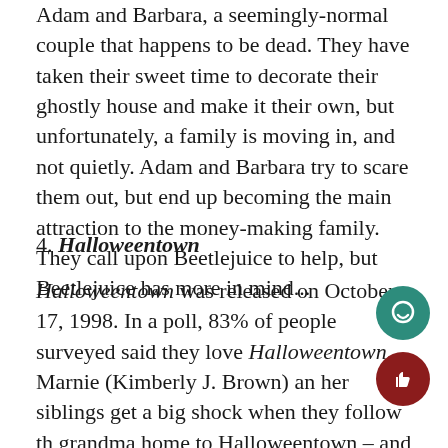Adam and Barbara, a seemingly-normal couple that happens to be dead. They have taken their sweet time to decorate their ghostly house and make it their own, but unfortunately, a family is moving in, and not quietly. Adam and Barbara try to scare them out, but end up becoming the main attraction to the money-making family. They call upon Beetlejuice to help, but Beetlejuice has more in mind...
4. Halloweentown
Halloweentown was released on October 17, 1998. In a poll, 83% of people surveyed said they love Halloweentown.  Marnie (Kimberly J. Brown) and her siblings get a big shock when they follow their grandma home to Halloweentown – and find out they come from a family of witches. The town is the only place where supernatural beings can lead